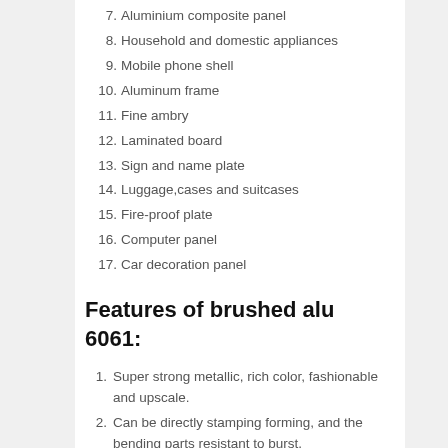7. Aluminium composite panel
8. Household and domestic appliances
9. Mobile phone shell
10. Aluminum frame
11. Fine ambry
12. Laminated board
13. Sign and name plate
14. Luggage,cases and suitcases
15. Fire-proof plate
16. Computer panel
17. Car decoration panel
Features of brushed alu 6061:
1. Super strong metallic, rich color, fashionable and upscale.
2. Can be directly stamping forming, and the bending parts resistant to burst.
3. Laundering durability, scratch resistant.
4. Anti-static electricity, no aspiration, easy to clean.
5. Used where corrosion resistance and good